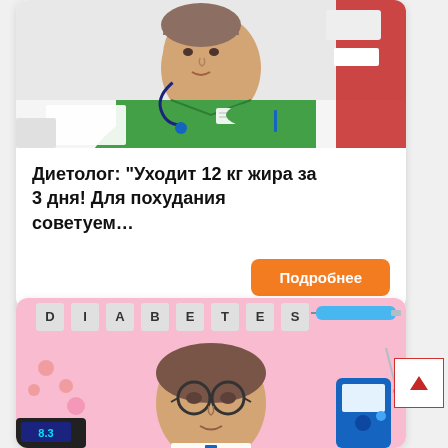[Figure (photo): Photo of a female doctor/dietitian in a green uniform with a stethoscope, sitting at a desk]
Диетолог: "Уходит 12 кг жира за 3 дня! Для похудания советуем…"
Подробнее
[Figure (photo): Photo of a male doctor wearing glasses against a pink background with 'DIABETES' text blocks, pills, syringe, and glucose monitoring equipment]